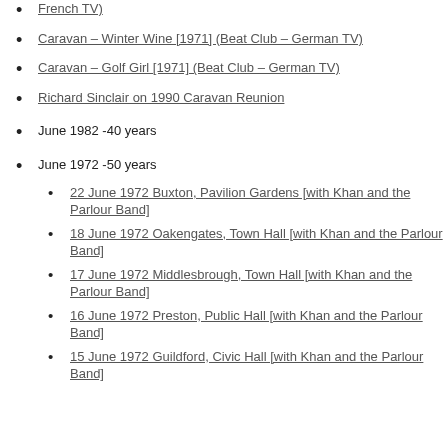French TV) [partial, cut off at top]
Caravan – Winter Wine [1971] (Beat Club – German TV)
Caravan – Golf Girl [1971] (Beat Club – German TV)
Richard Sinclair on 1990 Caravan Reunion
June 1982 -40 years
June 1972 -50 years
22 June 1972 Buxton, Pavilion Gardens [with Khan and the Parlour Band]
18 June 1972 Oakengates, Town Hall [with Khan and the Parlour Band]
17 June 1972 Middlesbrough, Town Hall [with Khan and the Parlour Band]
16 June 1972 Preston, Public Hall [with Khan and the Parlour Band]
15 June 1972 Guildford, Civic Hall [with Khan and the Parlour Band]